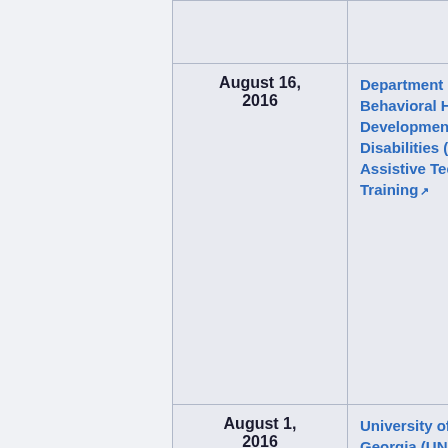|  | Date | Organization/Event | Presenters/Details |
| --- | --- | --- | --- |
|  |  |  | Tools for... |
|  | August 16, 2016 | Department of Behavioral Health and Developmental Disabilities (DBHDD) Assistive Technology Training | Nicki Wils... Michael D... Director, Connecti... Tools for... |
|  | August 1, 2016 | University of North Georgia (UNG) Cumming Disability ... | Liz Persa... and Outr... Coordina... Life Danny H... Funding Resource... Tools for... Sam Pet... |